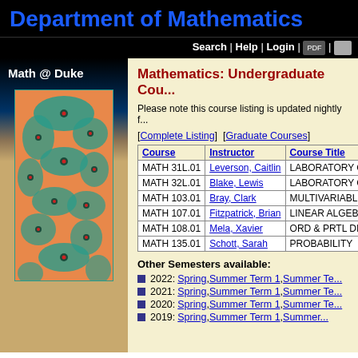Department of Mathematics
Search | Help | Login |
Math @ Duke
[Figure (illustration): Colorful abstract mathematical pattern with orange, teal, and red cellular/turing pattern image in sidebar]
Mathematics: Undergraduate Courses
Please note this course listing is updated nightly f...
[Complete Listing]  [Graduate Courses]
| Course | Instructor | Course Title |
| --- | --- | --- |
| MATH 31L.01 | Leverson, Caitlin | LABORATORY C... |
| MATH 32L.01 | Blake, Lewis | LABORATORY C... |
| MATH 103.01 | Bray, Clark | MULTIVARIABL... |
| MATH 107.01 | Fitzpatrick, Brian | LINEAR ALGEB... |
| MATH 108.01 | Mela, Xavier | ORD & PRTL DI... |
| MATH 135.01 | Schott, Sarah | PROBABILITY |
Other Semesters available:
2022: Spring, Summer Term 1, Summer Te...
2021: Spring, Summer Term 1, Summer Te...
2020: Spring, Summer Term 1, Summer Te...
2019: Spring, Summer Term 1, Summer...